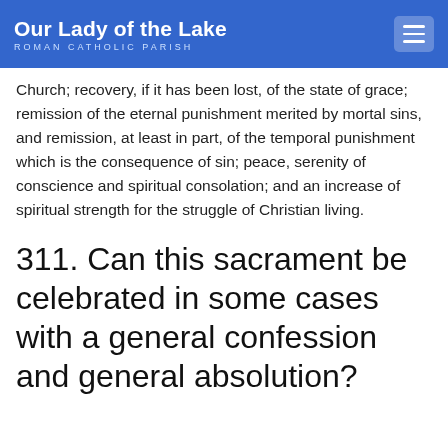Our Lady of the Lake ROMAN CATHOLIC PARISH
Church; recovery, if it has been lost, of the state of grace; remission of the eternal punishment merited by mortal sins, and remission, at least in part, of the temporal punishment which is the consequence of sin; peace, serenity of conscience and spiritual consolation; and an increase of spiritual strength for the struggle of Christian living.
311. Can this sacrament be celebrated in some cases with a general confession and general absolution?